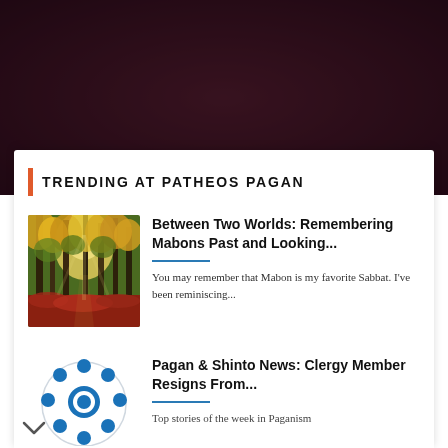[Figure (photo): Dark reddish-purple background photo at top of page, appears to be an outdoor/nature scene]
TRENDING AT PATHEOS PAGAN
[Figure (photo): Autumn forest path with golden yellow and orange leaves, sunlight filtering through trees, red leaf-covered ground]
Between Two Worlds: Remembering Mabons Past and Looking...
You may remember that Mabon is my favorite Sabbat. I've been reminiscing...
[Figure (logo): Blue circular logo with dots arranged in a ring and a central circular emblem]
Pagan & Shinto News: Clergy Member Resigns From...
Top stories of the week in Paganism